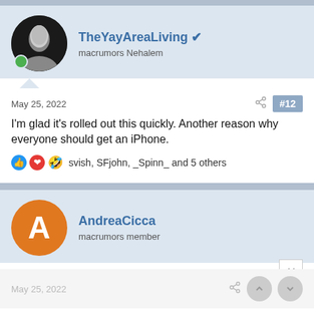TheYayAreaLiving — macrumors Nehalem
May 25, 2022  #12
I'm glad it's rolled out this quickly. Another reason why everyone should get an iPhone.
svish, SFjohn, _Spinn_ and 5 others
AndreaCicca — macrumors member
May 25, 2022